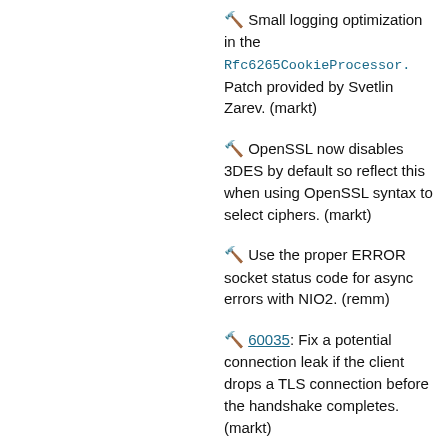🔨 Small logging optimization in the Rfc6265CookieProcessor. Patch provided by Svetlin Zarev. (markt)
🔨 OpenSSL now disables 3DES by default so reflect this when using OpenSSL syntax to select ciphers. (markt)
🔨 Use the proper ERROR socket status code for async errors with NIO2. (remm)
🔨 60035: Fix a potential connection leak if the client drops a TLS connection before the handshake completes. (markt)
🔨 Log a warning at start...